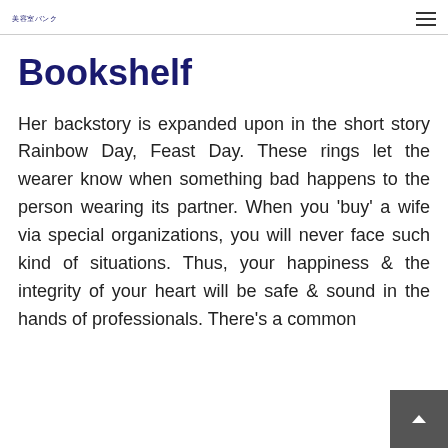美容室バンク
Bookshelf
Her backstory is expanded upon in the short story Rainbow Day, Feast Day. These rings let the wearer know when something bad happens to the person wearing its partner. When you 'buy' a wife via special organizations, you will never face such kind of situations. Thus, your happiness & the integrity of your heart will be safe & sound in the hands of professionals. There's a common